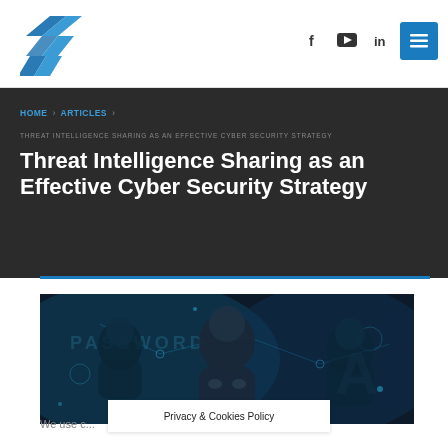[Figure (logo): Blue geometric S-shaped logo made of diagonal stripe shapes]
[Figure (infographic): Navigation bar with Facebook, YouTube, LinkedIn social icons and a blue hamburger menu button]
HOME > ARTICLES >
THREAT INTELLIGENCE SHARING AS AN EFFECTIVE CYBER SECURITY STRATEGY
Threat Intelligence Sharing as an Effective Cyber Security Strategy
[Figure (photo): Cybersecurity themed photograph showing hooded figure hackers with digital network overlay, blue toned, with PASSWORD text visible in background]
We use c...
Privacy & Cookies Policy